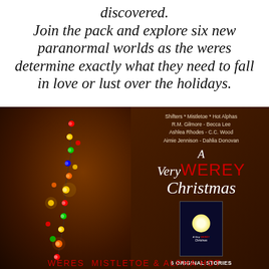discovered.
Join the pack and explore six new paranormal worlds as the weres determine exactly what they need to fall in love or lust over the holidays.
[Figure (photo): Book promotional image for 'A Very Werey Christmas' anthology. Shows a shirtless man from behind wrapped in colorful Christmas lights against a dark brown background. Right side shows author names: Shifters * Mistletoe * Hot Alphas, R.M. Gilmore - Becca Lee, Ashlea Rhodes - C.C. Wood, Aimie Jennison - Dahlia Donovan. Large stylized title 'A Very WEREY Christmas' with a small book cover image showing silhouetted couple against moon. Text reads '6 ORIGINAL STORIES' and bottom red text 'WERES MISTLETOE & ALPHA HOT'.]